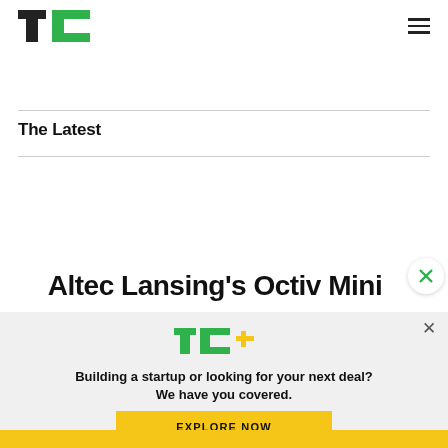[Figure (logo): TechCrunch TC logo in green and black]
The Latest
Altec Lansing's Octiv Mini
[Figure (logo): TechCrunch TC+ logo in green with yellow plus sign]
Building a startup or looking for your next deal? We have you covered.
EXPLORE NOW